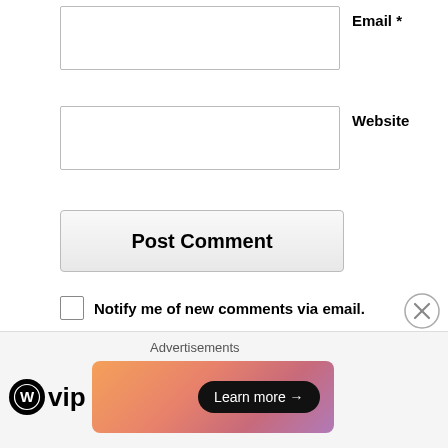Email *
Website
Post Comment
Notify me of new comments via email.
Notify me of new posts via email.
This site uses Akismet to reduce spam. Learn how your comment data is processed.
China News
Advertisements
[Figure (logo): WordPress VIP logo with circle W icon and 'vip' text]